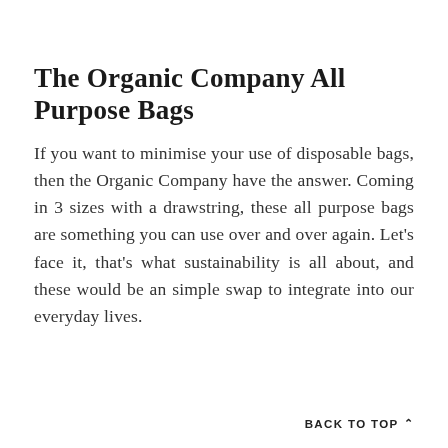The Organic Company All Purpose Bags
If you want to minimise your use of disposable bags, then the Organic Company have the answer. Coming in 3 sizes with a drawstring, these all purpose bags are something you can use over and over again. Let's face it, that's what sustainability is all about, and these would be an simple swap to integrate into our everyday lives.
BACK TO TOP ∧